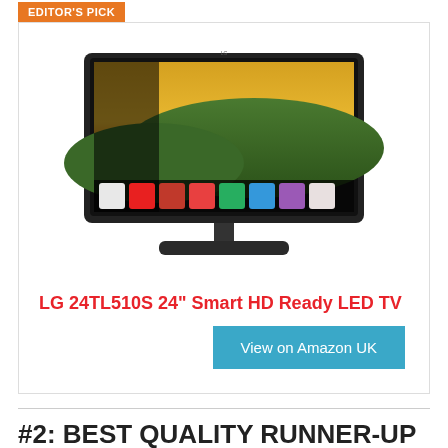EDITOR'S PICK
[Figure (photo): LG 24TL510S 24-inch Smart HD Ready LED TV product photo on white background]
LG 24TL510S 24" Smart HD Ready LED TV
View on Amazon UK
#2: BEST QUALITY RUNNER-UP
ALSO GOOD
SALE